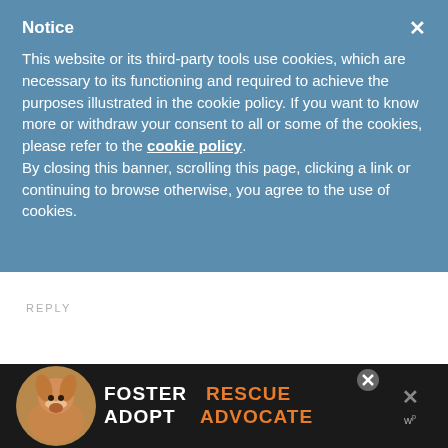Notice
This website or its third-party tools use cookies, which are necessary to its functioning and required to achieve the purposes illustrated in the cookie policy. If you want to know more or withdraw your consent to all or some of the cookies, please refer to the cookie policy. By closing this banner, scrolling this page, clicking a link or continuing to browse otherwise, you agree to the use of cookies.
REPLY
[Figure (photo): Partial view of a person (heidi) avatar circle]
[Figure (photo): Advertisement banner: FOSTER ADOPT RESCUE ADVOCATE with dog image, close button and W logo]